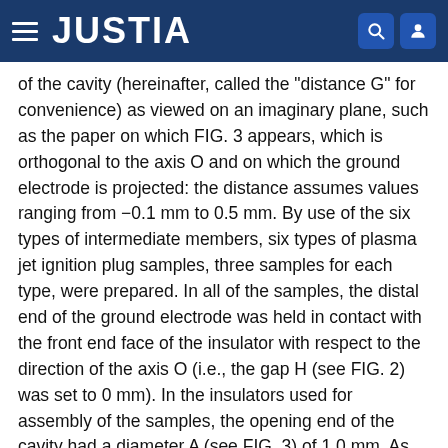JUSTIA
of the cavity (hereinafter, called the "distance G" for convenience) as viewed on an imaginary plane, such as the paper on which FIG. 3 appears, which is orthogonal to the axis O and on which the ground electrode is projected: the distance assumes values ranging from −0.1 mm to 0.5 mm. By use of the six types of intermediate members, six types of plasma jet ignition plug samples, three samples for each type, were prepared. In all of the samples, the distal end of the ground electrode was held in contact with the front end face of the insulator with respect to the direction of the axis O (i.e., the gap H (see FIG. 2) was set to 0 mm). In the insulators used for assembly of the samples, the opening end of the cavity had a diameter A (see FIG. 3) of 1.0 mm. As for the plus-minus sign for the distance Q the outside of the position (±0) of the opening end along the diametral direction P (the side away from the axis O) was